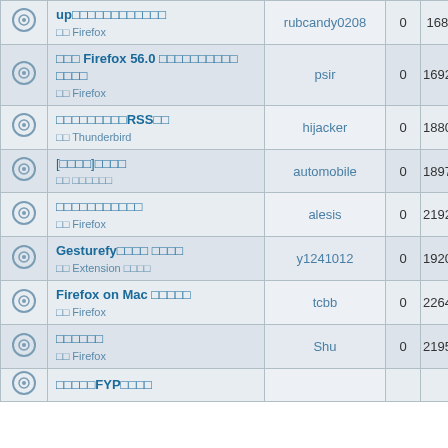|  | Title | User | 0 | Views |
| --- | --- | --- | --- | --- |
|  | up□□□□□□□□□□□□ □□ Firefox | rubcandy0208 | 0 | 1684□ |
|  | □□□ Firefox 56.0 □□□□□□□□□□ □□□□ □□ Firefox | psir | 0 | 16927□ |
|  | □□□□□□□□□RSS□□ □□ Thunderbird | hijacker | 0 | 18800□ |
|  | [□□□□]□□□□ □□ □□□□□□ | automobile | 0 | 18970□ |
|  | □□□□□□□□□□□ □□ Firefox | alesis | 0 | 21923□ |
|  | Gesturefy□□□□ □□□□ □□ Extension □□□□ | y1241012 | 0 | 19209□ |
|  | Firefox on Mac □□□□□ □□ Firefox | tcbb | 0 | 22648□ |
|  | □□□□□□ □□ Firefox | Shu | 0 | 21958□ |
|  | □□□□□FYP□□□□ |  |  |  |